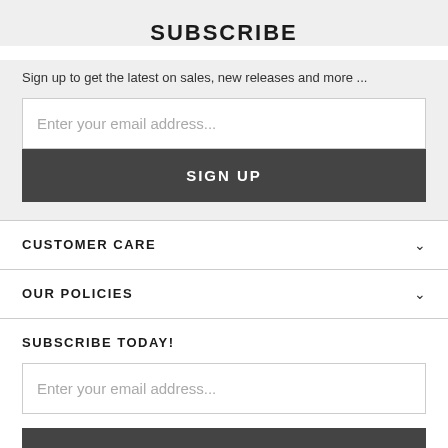SUBSCRIBE
Sign up to get the latest on sales, new releases and more ...
Enter your email address...
SIGN UP
CUSTOMER CARE
OUR POLICIES
SUBSCRIBE TODAY!
Enter your email address...
SIGN UP